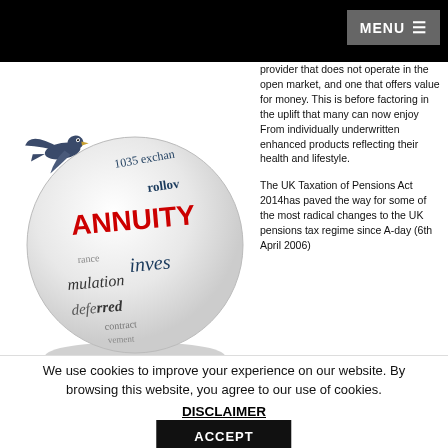MENU
[Figure (illustration): A 3D globe with financial/pension-related words on it including ANNUITY in red, invest, accumulation, deferred, rollover, 1035 exchange, contract. A bird (eagle) is flying to the left of the globe.]
provider that does not operate in the open market, and one that offers value for money. This is before factoring in the uplift that many can now enjoy From individually underwritten enhanced products reflecting their health and lifestyle.
The UK Taxation of Pensions Act 2014has paved the way for some of the most radical changes to the UK pensions tax regime since A-day (6th April 2006)
Retirees now have more options than ever as to how they use their pension pots. However for those that seek a secure income for life an annuity will in most cases still be the ideal product and that's why shopping around is just as vital as it has
We use cookies to improve your experience on our website. By browsing this website, you agree to our use of cookies.
DISCLAIMER
ACCEPT